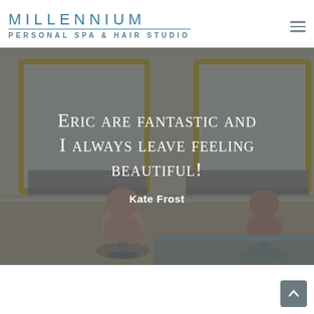MILLENNIUM PERSONAL SPA & HAIR STUDIO
[Figure (photo): Interior of a hair salon with pink chairs, gold-framed mirrors, and grey walls. The image is darkened with a semi-transparent overlay showing a testimonial quote.]
Eric are fantastic and I always leave feeling beautiful!
Kate Frost